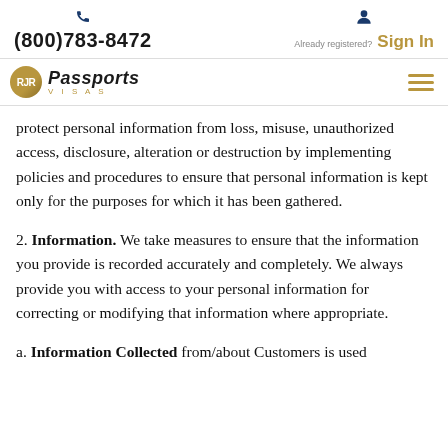(800)783-8472   Already registered? Sign In
RJR Passports Visas
protect personal information from loss, misuse, unauthorized access, disclosure, alteration or destruction by implementing policies and procedures to ensure that personal information is kept only for the purposes for which it has been gathered.
2. Information. We take measures to ensure that the information you provide is recorded accurately and completely. We always provide you with access to your personal information for correcting or modifying that information where appropriate.
a. Information Collected from/about Customers is used